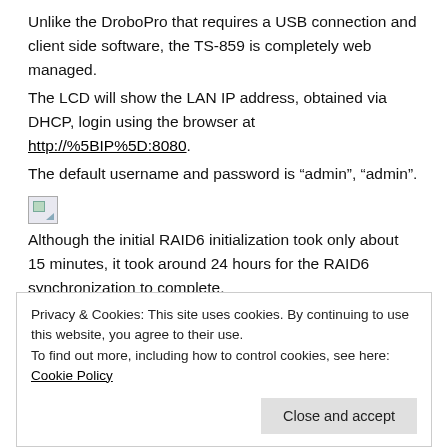Unlike the DroboPro that requires a USB connection and client side software, the TS-859 is completely web managed.
The LCD will show the LAN IP address, obtained via DHCP, login using the browser at http://%5BIP%5D:8080.
The default username and password is “admin”, “admin”.
[Figure (illustration): Broken image placeholder icon]
Although the initial RAID6 initialization took only about 15 minutes, it took around 24 hours for the RAID6 synchronization to complete.
During this time the volume is accessible for storage, the
Privacy & Cookies: This site uses cookies. By continuing to use this website, you agree to their use.
To find out more, including how to control cookies, see here: Cookie Policy
Close and accept
detailed diagnostics.